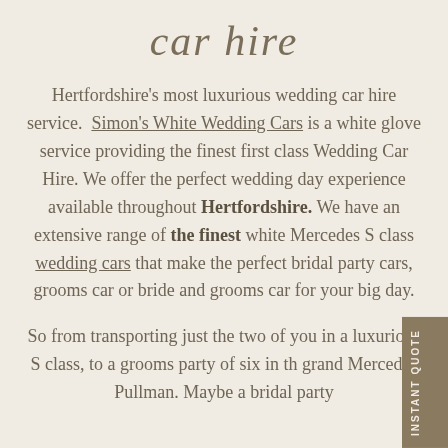car hire
Hertfordshire's most luxurious wedding car hire service. Simon's White Wedding Cars is a white glove service providing the finest first class Wedding Car Hire. We offer the perfect wedding day experience available throughout Hertfordshire. We have an extensive range of the finest white Mercedes S class wedding cars that make the perfect bridal party cars, grooms car or bride and grooms car for your big day.
So from transporting just the two of you in a luxurious S class, to a grooms party of six in the grand Mercedes Pullman. Maybe a bridal party